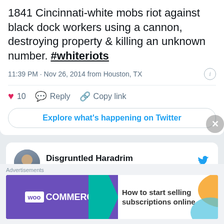1841 Cincinnati-white mobs riot against black dock workers using a cannon, destroying property & killing an unknown number. #whiteriots
11:39 PM · Nov 26, 2014 from Houston, TX
❤ 10   Reply   Copy link
Explore what's happening on Twitter
[Figure (photo): Profile photo of Disgruntled Haradrim (@pdjeliclark)]
Disgruntled Haradrim @pdjeliclark · Follow
1824 Providence- white mobs attack blacks for refusing to get off sidewalk;
Advertisements
[Figure (screenshot): WooCommerce advertisement banner: 'How to start selling subscriptions online']